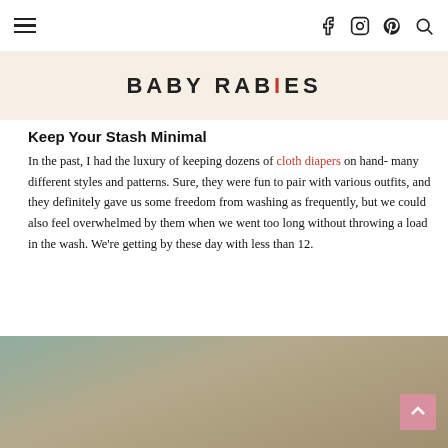Baby Rabies — navigation header with hamburger menu and social icons (Facebook, Instagram, Pinterest, Search)
[Figure (logo): Baby Rabies logo on a cream/tan background. Text reads BABY RABIES in bold sans-serif with the letter I in red.]
Keep Your Stash Minimal
In the past, I had the luxury of keeping dozens of cloth diapers on hand- many different styles and patterns. Sure, they were fun to pair with various outfits, and they definitely gave us some freedom from washing as frequently, but we could also feel overwhelmed by them when we went too long without throwing a load in the wash. We’re getting by these day with less than 12.
[Figure (photo): Partial photo of what appears to be cloth diapers or baby items against a wooden textured background.]